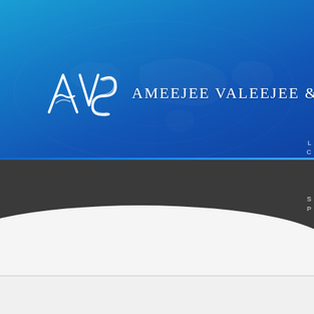[Figure (logo): AVS logo with stylized letters and company name 'AMEEJEE VALEEJEE & SONS' on blue gradient background with world map overlay]
About
With 142 years of history, AVS is one of the leading innovators in its indu...